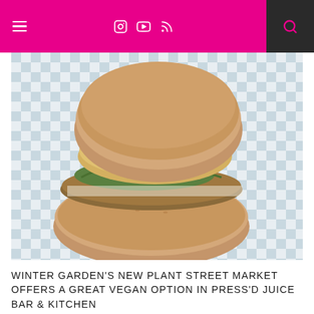[Figure (screenshot): Website navigation bar with pink/magenta background, hamburger menu icon on left, social media icons (Instagram, YouTube, RSS) in center-right, and dark search box with magnifying glass on far right]
[Figure (photo): Close-up photo of a vegan burger/sandwich on a checkered tablecloth background]
WINTER GARDEN'S NEW PLANT STREET MARKET OFFERS A GREAT VEGAN OPTION IN PRESS'D JUICE BAR & KITCHEN
AUGUST 2, 2015
LISTEN TO MY FAVORITE PLACES TO EAT MEAT FREE IN CENTRAL FLORIDA ON REAL IRON DAD RADIO!
AUGUST 12, 2015